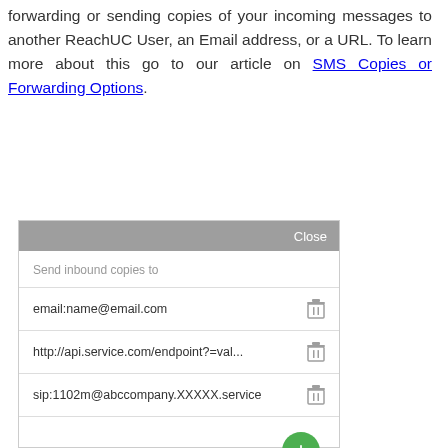forwarding or sending copies of your incoming messages to another ReachUC User, an Email address, or a URL. To learn more about this go to our article on SMS Copies or Forwarding Options.
[Figure (screenshot): UI panel showing 'Send inbound copies to' with three entries: email:name@email.com, http://api.service.com/endpoint?=val..., sip:1102m@abccompany.XXXXX.service, each with a trash icon, and a green + button at the bottom right.]